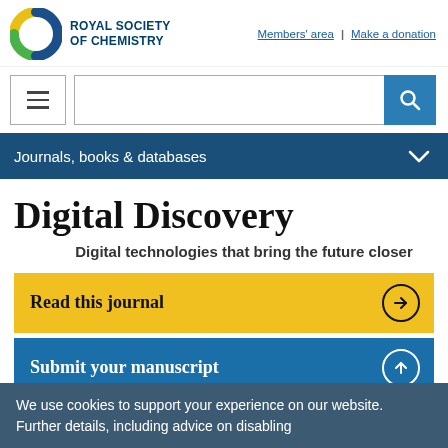[Figure (logo): Royal Society of Chemistry logo with coloured C icon and text]
Members' area | Make a donation
[Figure (screenshot): Hamburger menu button and search bar with blue search icon]
Journals, books & databases
Digital Discovery
Digital technologies that bring the future closer
Read this journal
Submit your manuscript
We use cookies to support your experience on our website. Further details, including advice on disabling